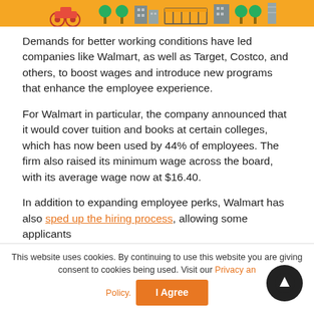[Figure (illustration): Decorative banner with orange background showing cartoon city icons: scooter, trees, buildings, fences on an orange/yellow strip.]
Demands for better working conditions have led companies like Walmart, as well as Target, Costco, and others, to boost wages and introduce new programs that enhance the employee experience.
For Walmart in particular, the company announced that it would cover tuition and books at certain colleges, which has now been used by 44% of employees. The firm also raised its minimum wage across the board, with its average wage now at $16.40.
In addition to expanding employee perks, Walmart has also sped up the hiring process, allowing some applicants
This website uses cookies. By continuing to use this website you are giving consent to cookies being used. Visit our Privacy and Cookie Policy.